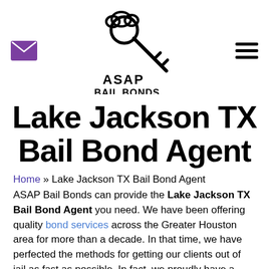[Figure (logo): ASAP Bail Bonds logo with key icon and company name, plus envelope icon on left and hamburger menu on right]
Lake Jackson TX Bail Bond Agent
Home » Lake Jackson TX Bail Bond Agent
ASAP Bail Bonds can provide the Lake Jackson TX Bail Bond Agent you need. We have been offering quality bond services across the Greater Houston area for more than a decade. In that time, we have perfected the methods for getting our clients out of jail as fast as possible. In fact, we proudly have a reputation for being the most efficient bond agents in the area. If you or a loved